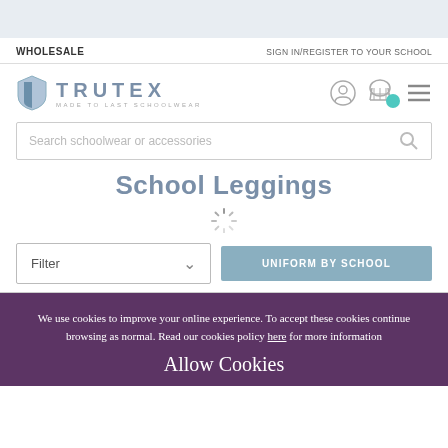WHOLESALE | SIGN IN/REGISTER TO YOUR SCHOOL
[Figure (logo): Trutex logo with shield icon and text 'TRUTEX MADE TO LAST SCHOOLWEAR', with user icon, basket icon with teal dot, and hamburger menu icon]
Search schoolwear or accessories
School Leggings
[Figure (other): Loading spinner graphic]
Filter
UNIFORM BY SCHOOL
We use cookies to improve your online experience. To accept these cookies continue browsing as normal. Read our cookies policy here for more information
Allow Cookies